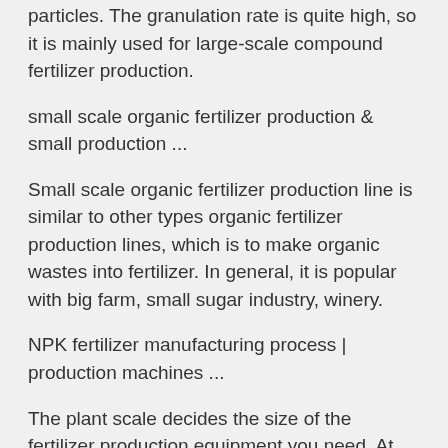particles. The granulation rate is quite high, so it is mainly used for large-scale compound fertilizer production.
small scale organic fertilizer production & small production ...
Small scale organic fertilizer production line is similar to other types organic fertilizer production lines, which is to make organic wastes into fertilizer. In general, it is popular with big farm, small sugar industry, winery.
NPK fertilizer manufacturing process | production machines ...
The plant scale decides the size of the fertilizer production equipment you need. At the same time, the large scale plant may make large fertilizers production capacity. If you only want to make small scale fertilizer production for your own farm, you just need a small scale plant and even you can manufacture in your own farm.